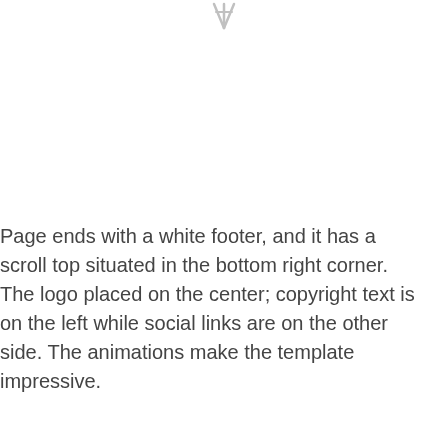[Figure (other): A small decorative icon or logo symbol at the top center of the page, rendered in light gray.]
Page ends with a white footer, and it has a scroll top situated in the bottom right corner. The logo placed on the center; copyright text is on the left while social links are on the other side. The animations make the template impressive.